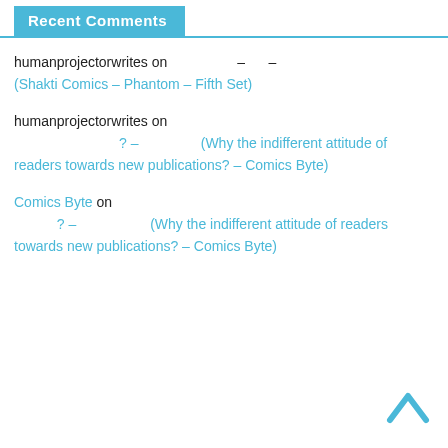Recent Comments
humanprojectorwrites on – – (Shakti Comics – Phantom – Fifth Set)
humanprojectorwrites on ? – (Why the indifferent attitude of readers towards new publications? – Comics Byte)
Comics Byte on ? – (Why the indifferent attitude of readers towards new publications? – Comics Byte)